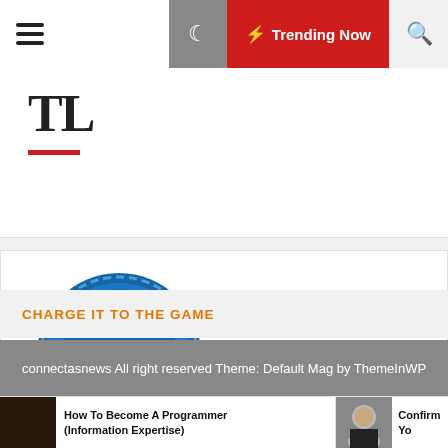Trending Now
TL
[Figure (logo): Intellifluence Trusted Blogger badge — circular blue badge with yellow ribbon and text 'Trusted BLOGGER']
CHARGE IT TO THE GAME
connectasnews All right reserved Theme: Default Mag by ThemeInWP
How To Become A Programmer (Information Expertise)
Confirm Yo